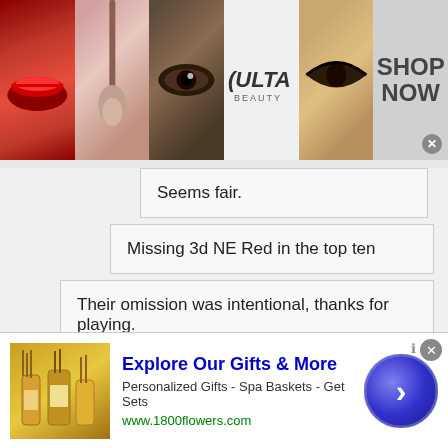[Figure (screenshot): ULTA Beauty banner advertisement with makeup images and SHOP NOW button]
Seems fair.
Missing 3d NE Red in the top ten
Their omission was intentional, thanks for playing.
Beat Towermen, Blackops and LXC this season. Thanks for playing
Anonymous #347511
Anonymous
Unregistered
[Figure (screenshot): 1800flowers.com advertisement: Explore Our Gifts & More - Personalized Gifts - Spa Baskets - Get Sets]